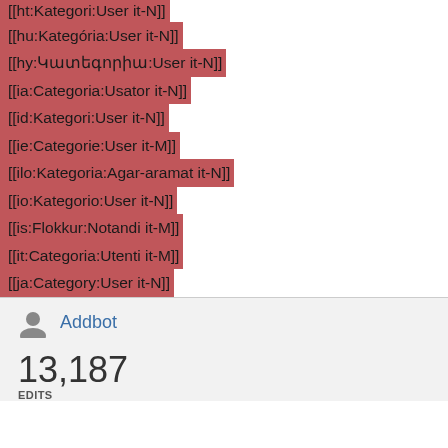[[ht:Kategori:User it-N]]
[[hu:Kategória:User it-N]]
[[hy:Կատեգորիա:User it-N]]
[[ia:Categoria:Usator it-N]]
[[id:Kategori:User it-N]]
[[ie:Categorie:User it-M]]
[[ilo:Kategoria:Agar-aramat it-N]]
[[io:Kategorio:User it-N]]
[[is:Flokkur:Notandi it-M]]
[[it:Categoria:Utenti it-M]]
[[ja:Category:User it-N]]
Addbot
13,187 EDITS